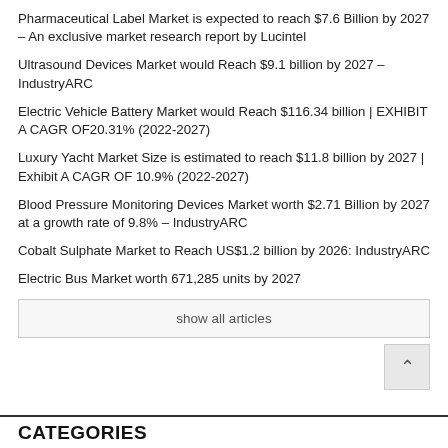Pharmaceutical Label Market is expected to reach $7.6 Billion by 2027 – An exclusive market research report by Lucintel
Ultrasound Devices Market would Reach $9.1 billion by 2027 – IndustryARC
Electric Vehicle Battery Market would Reach $116.34 billion | EXHIBIT A CAGR OF20.31% (2022-2027)
Luxury Yacht Market Size is estimated to reach $11.8 billion by 2027 | Exhibit A CAGR OF 10.9% (2022-2027)
Blood Pressure Monitoring Devices Market worth $2.71 Billion by 2027 at a growth rate of 9.8% – IndustryARC
Cobalt Sulphate Market to Reach US$1.2 billion by 2026: IndustryARC
Electric Bus Market worth 671,285 units by 2027
show all articles
CATEGORIES